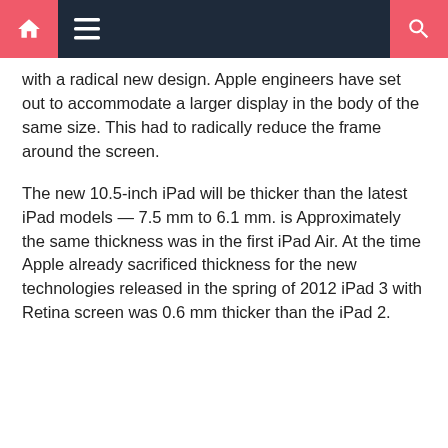Navigation bar with home, menu, and search icons
with a radical new design. Apple engineers have set out to accommodate a larger display in the body of the same size. This had to radically reduce the frame around the screen.
The new 10.5-inch iPad will be thicker than the latest iPad models — 7.5 mm to 6.1 mm. is Approximately the same thickness was in the first iPad Air. At the time Apple already sacrificed thickness for the new technologies released in the spring of 2012 iPad 3 with Retina screen was 0.6 mm thicker than the iPad 2.